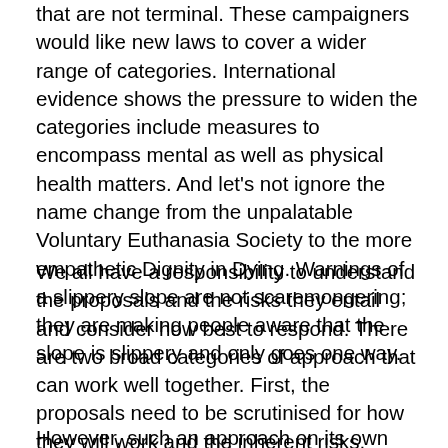that are not terminal. These campaigners would like new laws to cover a wider range of categories. International evidence shows the pressure to widen the categories include measures to encompass mental as well as physical health matters. And let's not ignore the name change from the unpalatable Voluntary Euthanasia Society to the more empathetic Dignity in Dying. Warnings of a slippery slope are not scaremongering; they are making people aware that the slope is slippery and only goes one way.
We all have a responsibility to understand the proposals and the risks they entail and consider how best to respond. There are two broad categories of approach that can work well together. First, the proposals need to be scrutinised for how they will work and the inherent risks, including the risk of abuse and the threat to vulnerable people. The proposals could certainly be strengthened to introduce further safeguards and protections.
However, such an approach on its own may suggest that